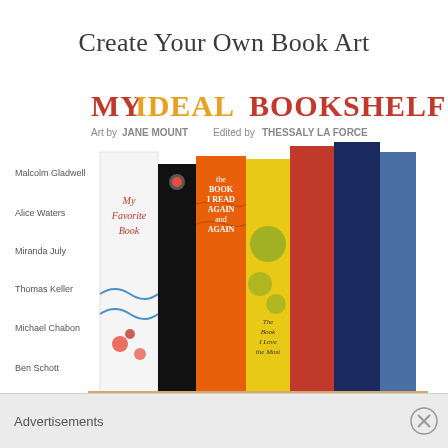Create Your Own Book Art
[Figure (illustration): Cover of 'My Ideal Bookshelf' book showing illustrated book spines on a shelf. Text reads: MY IDEAL BOOKSHELF, Art by JANE MOUNT, Edited by THESSALY LA FORCE. Left column names: Malcolm Gladwell, Alice Waters, Miranda July, Thomas Keller, Michael Chabon, Ben Schott. Right column names: Chuck Klosterman, Judd Apatow, Jonathan Lethem, Dave Eggers, Philip Gourevitch, Ishmael Reed.]
Advertisements